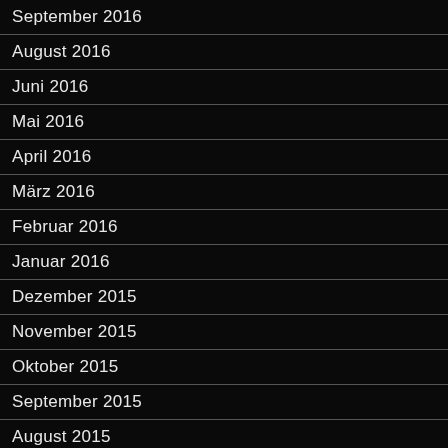September 2016
August 2016
Juni 2016
Mai 2016
April 2016
März 2016
Februar 2016
Januar 2016
Dezember 2015
November 2015
Oktober 2015
September 2015
August 2015